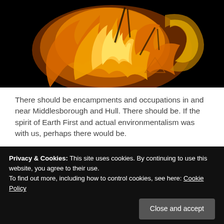[Figure (illustration): Abstract flame/fire digital artwork with gold and orange tones on a black background, showing swirling fiery shapes resembling a letter or creature form]
There should be encampments and occupations in and near Middlesborough and Hull. There should be. If the spirit of Earth First and actual environmentalism was with us, perhaps there would be.
Privacy & Cookies: This site uses cookies. By continuing to use this website, you agree to their use.
To find out more, including how to control cookies, see here: Cookie Policy